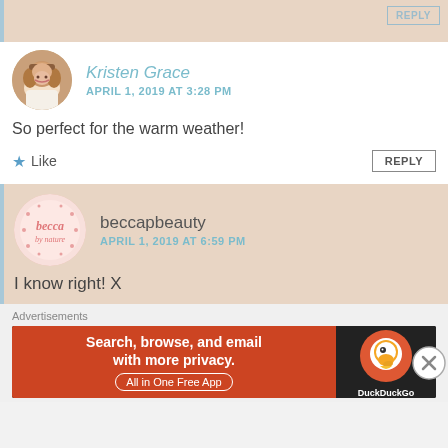[Figure (screenshot): Top beige/tan bar with a REPLY button in top right corner]
[Figure (photo): Circular avatar of Kristen Grace - woman with blonde/brown hair smiling]
Kristen Grace
APRIL 1, 2019 AT 3:28 PM
So perfect for the warm weather!
Like
REPLY
[Figure (logo): beccapbeauty circular logo with pink handwritten text on light pink background]
beccapbeauty
APRIL 1, 2019 AT 6:59 PM
I know right! X
Advertisements
[Figure (screenshot): DuckDuckGo advertisement banner - Search, browse, and email with more privacy. All in One Free App. With DuckDuckGo duck logo on dark background.]